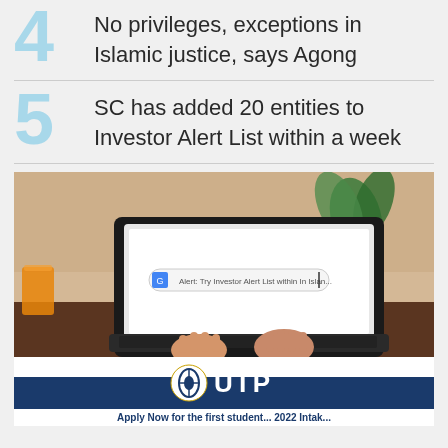4 No privileges, exceptions in Islamic justice, says Agong
5 SC has added 20 entities to Investor Alert List within a week
[Figure (photo): Person typing on a laptop computer with a search bar visible on screen, sitting at a desk with a plant and orange juice in the background]
[Figure (logo): UTP (Universiti Teknologi PETRONAS) logo banner with blue and white colors, partially showing text at the bottom starting with 'Apply Now for the first...']